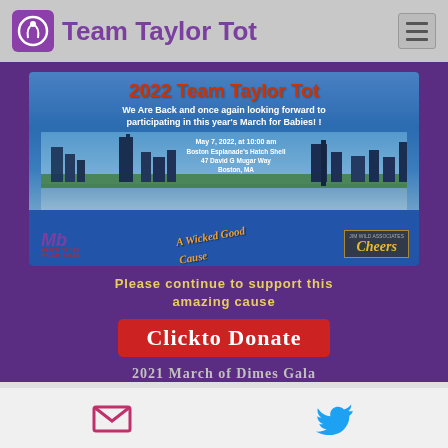Team Taylor Tot
[Figure (infographic): 2022 Team Taylor Tot March for Babies event flyer showing Boston skyline with event details: May 7, 2022 at 10:00 am, Boston Esplanade's Hatch Shell, 47 David G Mugar Way, Boston, MA. Logos for March of Dimes, A Wicked Good Cause, and Cheers.]
Please continue to support this amazing cause
Clickto Donate
2021 March of Dimes Gala
Email and Twitter icons